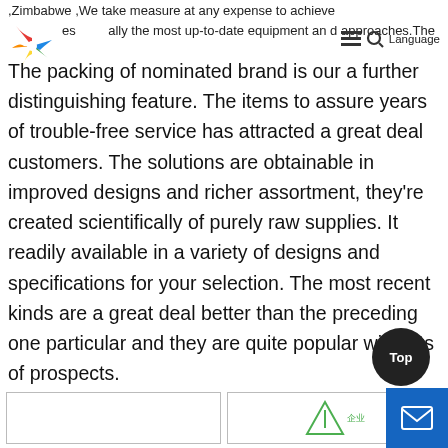,Zimbabwe ,We take measure at any expense to achieve especially the most up-to-date equipment and approaches. Language
The packing of nominated brand is our a further distinguishing feature. The items to assure years of trouble-free service has attracted a great deal customers. The solutions are obtainable in improved designs and richer assortment, they're created scientifically of purely raw supplies. It readily available in a variety of designs and specifications for your selection. The most recent kinds are a great deal better than the preceding one particular and they are quite popular with lots of prospects.